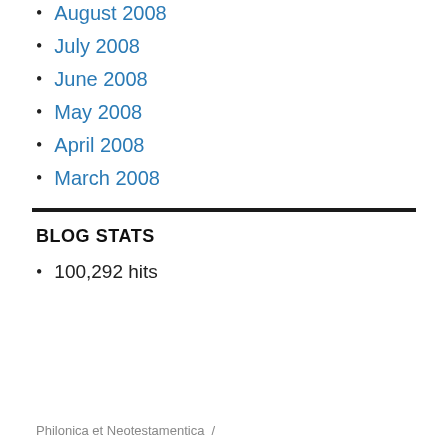August 2008
July 2008
June 2008
May 2008
April 2008
March 2008
BLOG STATS
100,292 hits
Philonica et Neotestamentica  /